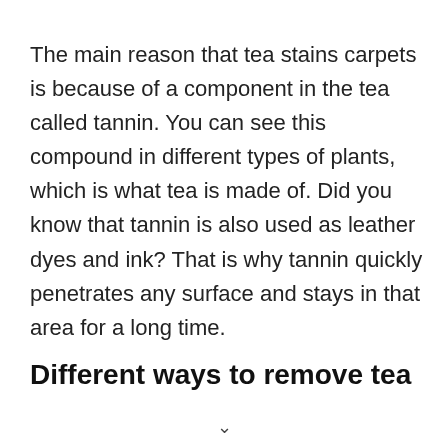The main reason that tea stains carpets is because of a component in the tea called tannin. You can see this compound in different types of plants, which is what tea is made of. Did you know that tannin is also used as leather dyes and ink? That is why tannin quickly penetrates any surface and stays in that area for a long time.
Different ways to remove tea